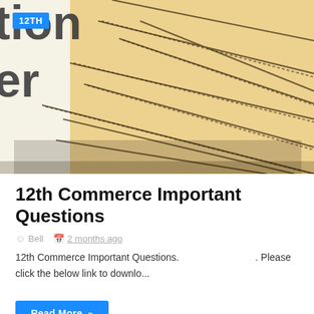[Figure (photo): Close-up photo of a question paper / lined notebook with diagonal ruled lines on a tan/beige background. Partially visible text 'estion' and 'er' on the left. A blue badge reading '12TH' is overlaid in the top-left corner.]
12th Commerce Important Questions
Bell   2 months ago
12th Commerce Important Questions.   . Please click the below link to downlo...
Read More »